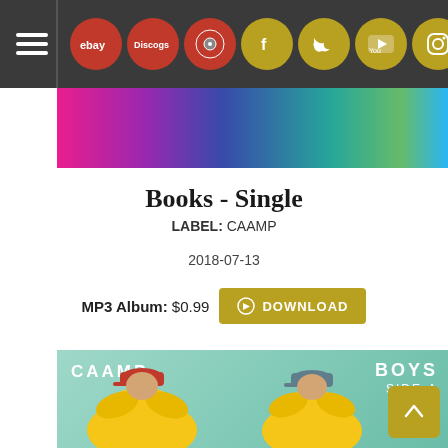[Figure (screenshot): Navigation bar with hamburger menu icon, eBay, Discogs, and vinyl record icon buttons (red circles), and Facebook, Twitter, YouTube, Instagram, and mail icon buttons (gold circles) on dark gray background]
[Figure (photo): Colorful banner image with pink, purple, blue, teal green horizontal bands, partially cropped]
Books - Single
LABEL: CAAMP
2018-07-13
MP3 Album: $0.99 DOWNLOAD
[Figure (photo): Album art for CAAMP 'Boys Side-A': light teal/mint green background with white text 'CAAMP' top-left and 'BOYS SIDE-A' top-right, two figures wearing yellow feathered outfits and red/green baseball caps, partially cropped at bottom. Gold scroll-to-top button at bottom-right.]